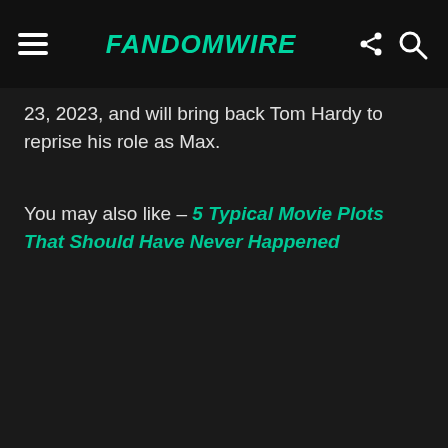FandomWire
23, 2023, and will bring back Tom Hardy to reprise his role as Max.
You may also like – 5 Typical Movie Plots That Should Have Never Happened